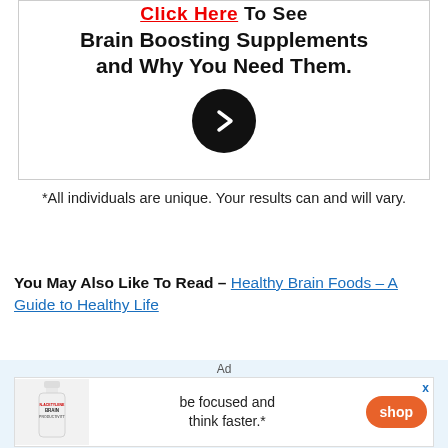[Figure (illustration): Promotional banner with bold text 'Brain Boosting Supplements and Why You Need Them.' and a black circular arrow button, with partial red 'Click Here' text at top]
*All individuals are unique. Your results can and will vary.
You May Also Like To Read – Healthy Brain Foods – A Guide to Healthy Life
[Figure (infographic): Advertisement banner: supplement bottle image on left, text 'be focused and think faster.*' in center, orange 'shop' button on right. 'X' close button top right.]